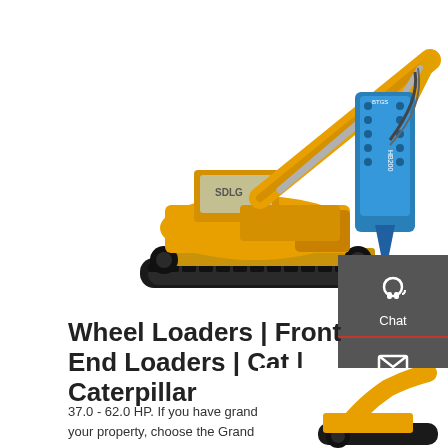[Figure (photo): Yellow SDLG crawler excavator with blue hydraulic hammer/breaker attachment (HB200) on a white background]
Wheel Loaders | Front End Loaders | Cat | Caterpillar
37.0 - 62.0 HP. If you have grand expectations for your property, choose the Grand L60 Series.
Get a quote
[Figure (photo): Partial view of a yellow excavator/construction machine at the bottom right of the page]